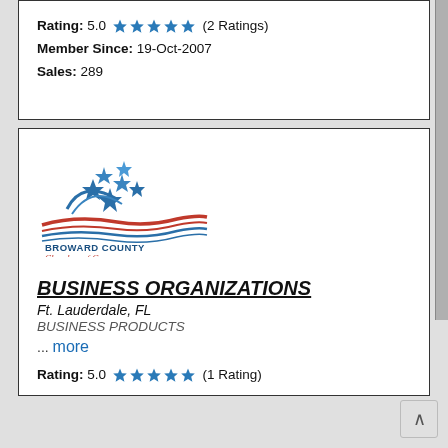Rating: 5.0 ★★★★★ (2 Ratings)
Member Since: 19-Oct-2007
Sales: 289
[Figure (logo): Broward County Chamber of Commerce logo — blue stars and red/blue wave with text 'BROWARD COUNTY Chamber of Commerce A REFERRAL YOU CAN COUNT ON']
BUSINESS ORGANIZATIONS
Ft. Lauderdale, FL
BUSINESS PRODUCTS
... more
Rating: 5.0 ★★★★★ (1 Rating)